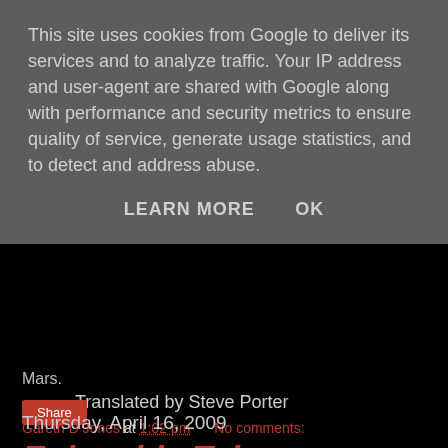This site uses cookies from Google to deliver its services and to analyze traffic. Your IP address and user-agent are shared with Google along with performance and security metrics to ensure quality of service, generate usage statistics, and to detect and address abuse.
LEARN MORE    OK
Mars.
Translated by Steve Porter
Gareth D Jones at 1:02 pm   No comments:
Share
Thursday, April 16, 2009
Enjoyable Tales